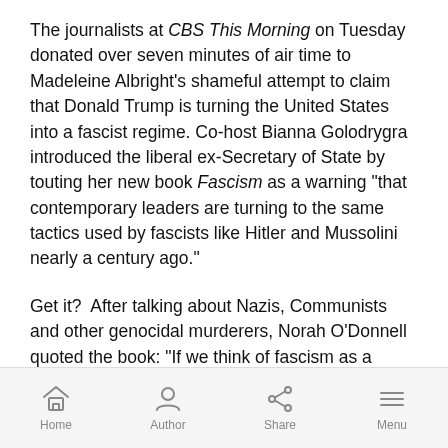The journalists at CBS This Morning on Tuesday donated over seven minutes of air time to Madeleine Albright's shameful attempt to claim that Donald Trump is turning the United States into a fascist regime. Co-host Bianna Golodrygra introduced the liberal ex-Secretary of State by touting her new book Fascism as a warning “that contemporary leaders are turning to the same tactics used by fascists like Hitler and Mussolini nearly a century ago.”
Get it?  After talking about Nazis, Communists and other genocidal murderers, Norah O’Donnell quoted the book: “If we think of fascism as a wound from the past that had almost healed, putting Trump in the White
Home   Author   Share   Menu